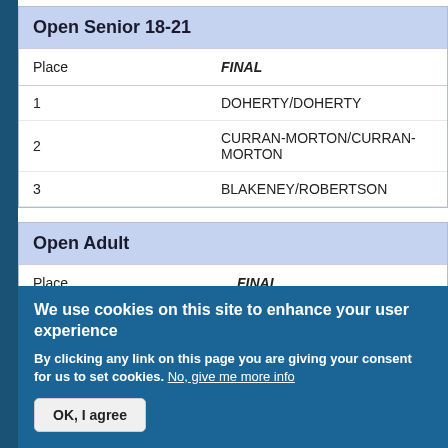| Place | FINAL |
| --- | --- |
| 1 | DOHERTY/DOHERTY |
| 2 | CURRAN-MORTON/CURRAN-MORTON |
| 3 | BLAKENEY/ROBERTSON |
| Place | FINAL |
| --- | --- |
We use cookies on this site to enhance your user experience
By clicking any link on this page you are giving your consent for us to set cookies. No, give me more info
OK, I agree